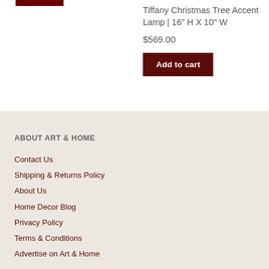[Figure (other): Dark red/maroon horizontal bar at top left of product section]
Tiffany Christmas Tree Accent Lamp | 16″ H X 10″ W
$569.00
Add to cart
ABOUT ART & HOME
Contact Us
Shipping & Returns Policy
About Us
Home Decor Blog
Privacy Policy
Terms & Conditions
Advertise on Art & Home